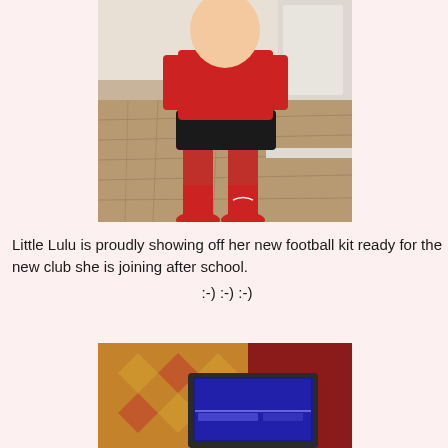[Figure (photo): Child standing indoors wearing a red football kit with black shorts and red knee-high socks, on a wooden floor.]
Little Lulu is proudly showing off her new football kit ready for the new club she is joining after school.
:-) :-) :-)
[Figure (photo): A laptop or tablet device on a patterned sofa/cushion.]